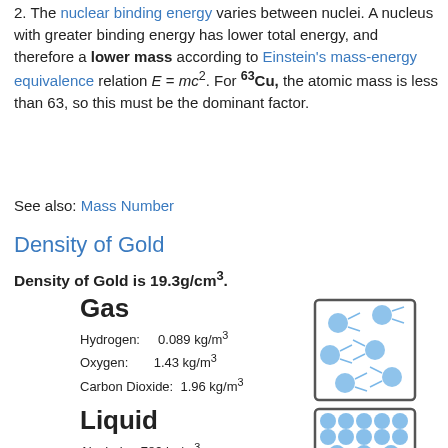2. The nuclear binding energy varies between nuclei. A nucleus with greater binding energy has lower total energy, and therefore a lower mass according to Einstein's mass-energy equivalence relation E = mc². For ⁶³Cu, the atomic mass is less than 63, so this must be the dominant factor.
See also: Mass Number
Density of Gold
Density of Gold is 19.3g/cm³.
[Figure (infographic): Infographic showing density of gases: Hydrogen 0.089 kg/m³, Oxygen 1.43 kg/m³, Carbon Dioxide 1.96 kg/m³, with a container illustration of gas molecules.]
[Figure (infographic): Infographic showing density of liquids: Alcohol 789 kg/m³, Water 1000 kg/m³, with a container illustration of liquid molecules.]